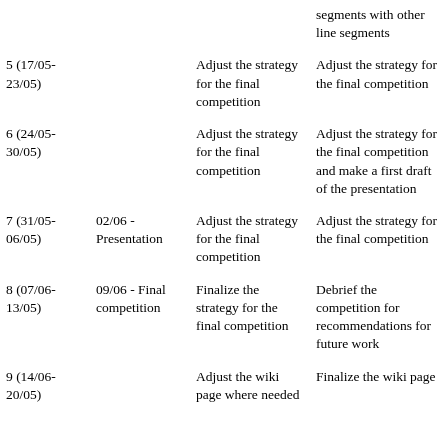| Week | Milestone | Individual goal | Team goal |
| --- | --- | --- | --- |
|  |  |  | segments with other line segments |
| 5 (17/05-23/05) |  | Adjust the strategy for the final competition | Adjust the strategy for the final competition |
| 6 (24/05-30/05) |  | Adjust the strategy for the final competition | Adjust the strategy for the final competition and make a first draft of the presentation |
| 7 (31/05-06/05) | 02/06 - Presentation | Adjust the strategy for the final competition | Adjust the strategy for the final competition |
| 8 (07/06-13/05) | 09/06 - Final competition | Finalize the strategy for the final competition | Debrief the competition for recommendations for future work |
| 9 (14/06-20/05) |  | Adjust the wiki page where needed | Finalize the wiki page |